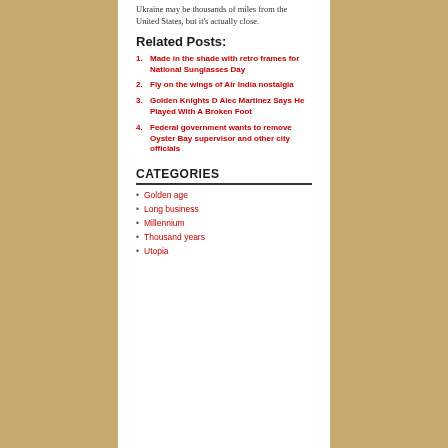Ukraine may be thousands of miles from the United States, but it's actually close.
Related Posts:
1. Made in the shade with retro frames for National Sunglasses Day
2. Fly on the wings of Air India nostalgia
3. Golden Knights D Alec Martinez Says He Played With A Broken Foot
4. Federal government wants to remove Oyster Bay supervisor and other city officials
CATEGORIES
Golden age
Long business
Millennium
Thousand years
Utopia